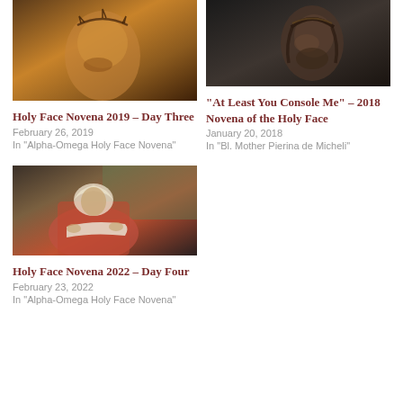[Figure (photo): Close-up painting of the Holy Face of Jesus with crown of thorns, warm golden-brown tones]
Holy Face Novena 2019 – Day Three
February 26, 2019
In "Alpha-Omega Holy Face Novena"
[Figure (photo): Dark-toned sculpture or photo of Jesus face with crown of thorns, looking upward]
“At Least You Console Me” – 2018 Novena of the Holy Face
January 20, 2018
In "Bl. Mother Pierina de Micheli"
[Figure (photo): Painting of a woman in pink and red robes holding a white cloth or scroll, classical style]
Holy Face Novena 2022 – Day Four
February 23, 2022
In "Alpha-Omega Holy Face Novena"